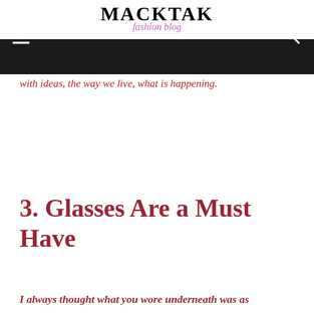MACKTAK fashion blog
with ideas, the way we live, what is happening.
3. Glasses Are a Must Have
I always thought what you wore underneath was as